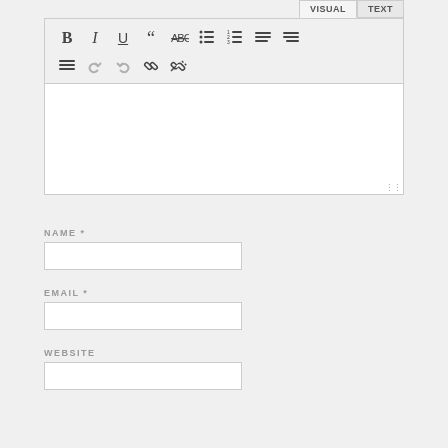[Figure (screenshot): WordPress-style visual text editor toolbar with VISUAL and TEXT tabs, showing bold, italic, underline, blockquote, strikethrough, unordered list, ordered list, alignment buttons, hamburger menu, undo, redo, link, and unlink icons. Below the toolbar is an empty white content editing area with a resize handle in the bottom right.]
NAME *
EMAIL *
WEBSITE